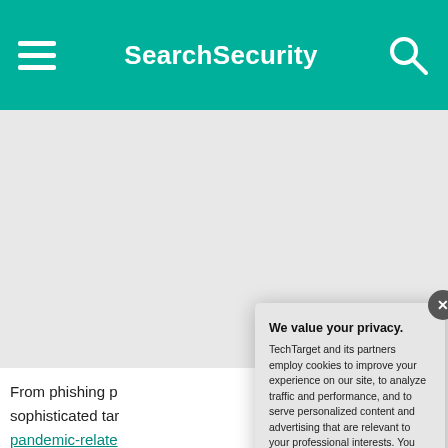SearchSecurity
From phishing p... sophisticated tar... pandemic-relate... people and orga... professionals, ho... frontlines of a di... questions are de... such questions d... as well as recom... securely and sa...
We value your privacy.
TechTarget and its partners employ cookies to improve your experience on our site, to analyze traffic and performance, and to serve personalized content and advertising that are relevant to your professional interests. You can manage your settings at any time. Please view our Privacy Policy for more information